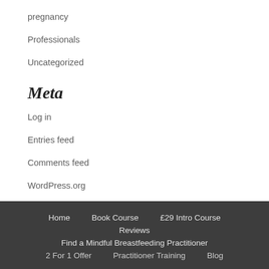pregnancy
Professionals
Uncategorized
Meta
Log in
Entries feed
Comments feed
WordPress.org
Home   Book Course   £29 Intro Course   Reviews   Find a Mindful Breastfeeding Practitioner   2 For 1 Offer   Practitioner Training   Blog